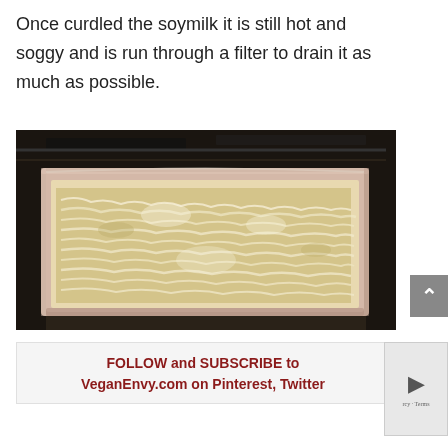Once curdled the soymilk it is still hot and soggy and is run through a filter to drain it as much as possible.
[Figure (photo): Industrial tray or mold containing wet, shredded white soy curds being drained, industrial food processing setting with dark background machinery]
FOLLOW and SUBSCRIBE to VeganEnvy.com on Pinterest, Twitter